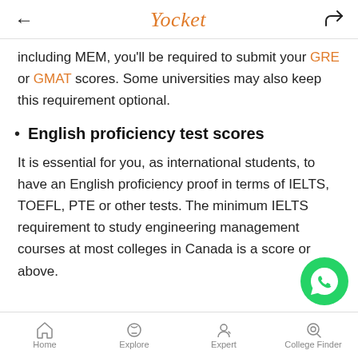Yocket
including MEM, you'll be required to submit your GRE or GMAT scores. Some universities may also keep this requirement optional.
English proficiency test scores
It is essential for you, as international students, to have an English proficiency proof in terms of IELTS, TOEFL, PTE or other tests. The minimum IELTS requirement to study engineering management courses at most colleges in Canada is a score or above.
Home  Explore  Expert  College Finder